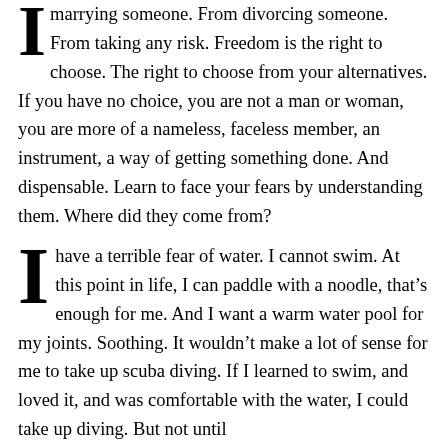marrying someone. From divorcing someone. From taking any risk. Freedom is the right to choose. The right to choose from your alternatives. If you have no choice, you are not a man or woman, you are more of a nameless, faceless member, an instrument, a way of getting something done. And dispensable. Learn to face your fears by understanding them. Where did they come from?
I have a terrible fear of water. I cannot swim. At this point in life, I can paddle with a noodle, that's enough for me. And I want a warm water pool for my joints. Soothing. It wouldn't make a lot of sense for me to take up scuba diving. If I learned to swim, and loved it, and was comfortable with the water, I could take up diving. But not until